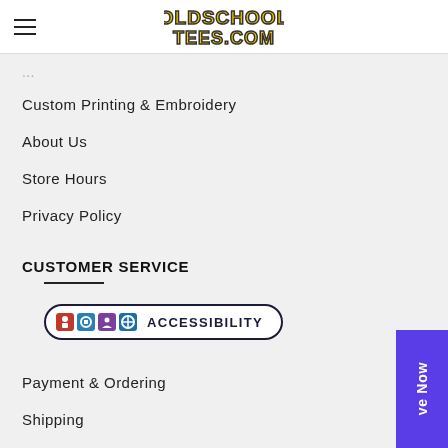[Figure (logo): OldSchoolTees.com logo in yellow bubble letters with dark outline]
Custom Printing & Embroidery
About Us
Store Hours
Privacy Policy
CUSTOMER SERVICE
[Figure (infographic): Accessibility button with colorful icons and text ACCESSIBILITY in a rounded rectangle border]
Payment & Ordering
Shipping
Returns & Exchanges